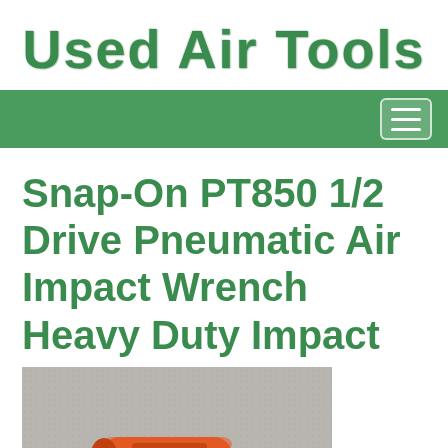Used Air Tools
Snap-On PT850 1/2 Drive Pneumatic Air Impact Wrench Heavy Duty Impact
[Figure (photo): Photo of a Snap-On PT850 red/orange pneumatic air impact wrench lying on a grey surface]